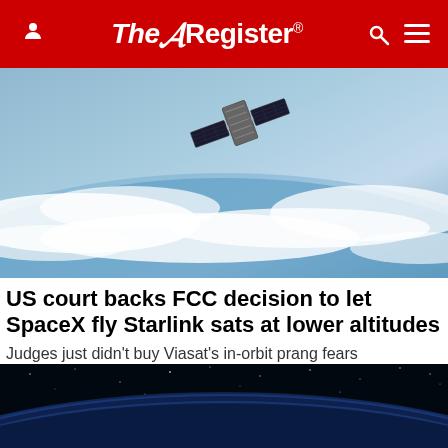The Register
[Figure (photo): Starlink satellite in orbit above Earth, showing solar panels against a backdrop of clouds and blue ocean]
US court backs FCC decision to let SpaceX fly Starlink sats at lower altitudes
Judges just didn't buy Viasat's in-orbit prang fears
NETWORKS   2 days | 15
[Figure (photo): Earth from space at night with deep blue space and stars in background]